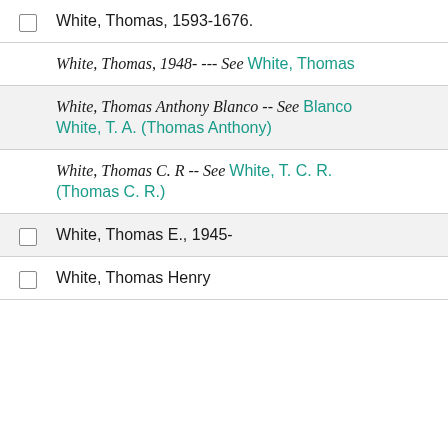White, Thomas, 1593-1676.
White, Thomas, 1948- -- See White, Thomas (link)
White, Thomas Anthony Blanco -- See Blanco White, T. A. (Thomas Anthony)
White, Thomas C. R -- See White, T. C. R. (Thomas C. R.)
White, Thomas E., 1945-
White, Thomas Henry